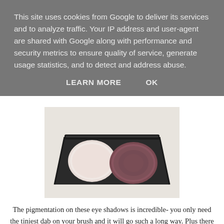This site uses cookies from Google to deliver its services and to analyze traffic. Your IP address and user-agent are shared with Google along with performance and security metrics to ensure quality of service, generate usage statistics, and to detect and address abuse.
LEARN MORE   OK
[Figure (photo): A Chanel eyeshadow compact opened showing two eyeshadow pans - one light pink/white and one mauve/rose brown, on a light grey/white background.]
The pigmentation on these eye shadows is incredible- you only need the tiniest dab on your brush and it will go such a long way. Plus there is no fall out at all, which I love. I particularly like the gold shade because it's quite cool toned which means that you can use it to create a cool toned look or a warm toned look- it works with so many transition and crease shades.